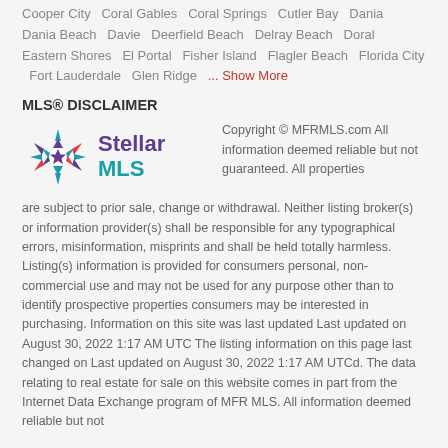Cooper City  Coral Gables  Coral Springs  Cutler Bay  Dania  Dania Beach  Davie  Deerfield Beach  Delray Beach  Doral  Eastern Shores  El Portal  Fisher Island  Flagler Beach  Florida City  Fort Lauderdale  Glen Ridge  ... Show More
MLS® DISCLAIMER
[Figure (logo): Stellar MLS logo — a decorative star/snowflake icon in teal/blue/red colors next to the text 'Stellar MLS' in purple and teal.]
Copyright © MFRMLS.com All information deemed reliable but not guaranteed. All properties are subject to prior sale, change or withdrawal. Neither listing broker(s) or information provider(s) shall be responsible for any typographical errors, misinformation, misprints and shall be held totally harmless. Listing(s) information is provided for consumers personal, non-commercial use and may not be used for any purpose other than to identify prospective properties consumers may be interested in purchasing. Information on this site was last updated Last updated on August 30, 2022 1:17 AM UTC The listing information on this page last changed on Last updated on August 30, 2022 1:17 AM UTCd. The data relating to real estate for sale on this website comes in part from the Internet Data Exchange program of MFR MLS. All information deemed reliable but not